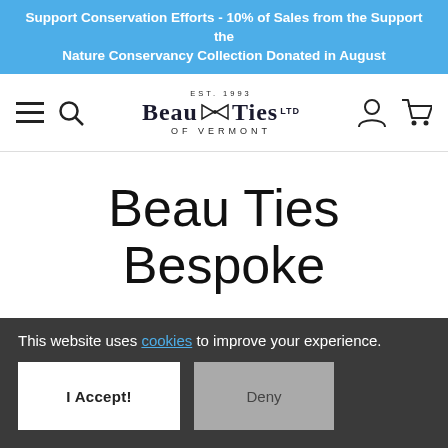Support Conservation Efforts - 10% of Sales from the Support the Nature Conservancy Collection Donated in August
[Figure (logo): Beau Ties Ltd of Vermont logo with EST. 1993, hamburger menu icon, search icon, user icon, cart icon]
Beau Ties Bespoke
We take a different approach to creating ties for you. While
This website uses cookies to improve your experience. I Accept! Deny